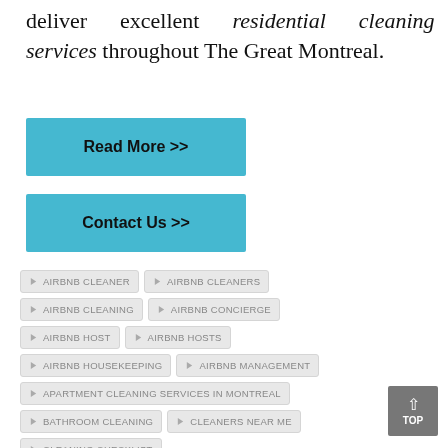deliver excellent residential cleaning services throughout The Great Montreal.
Read More >>
Contact Us >>
AIRBNB CLEANER
AIRBNB CLEANERS
AIRBNB CLEANING
AIRBNB CONCIERGE
AIRBNB HOST
AIRBNB HOSTS
AIRBNB HOUSEKEEPING
AIRBNB MANAGEMENT
APARTMENT CLEANING SERVICES IN MONTREAL
BATHROOM CLEANING
CLEANERS NEAR ME
CLEANING CHECKLIST